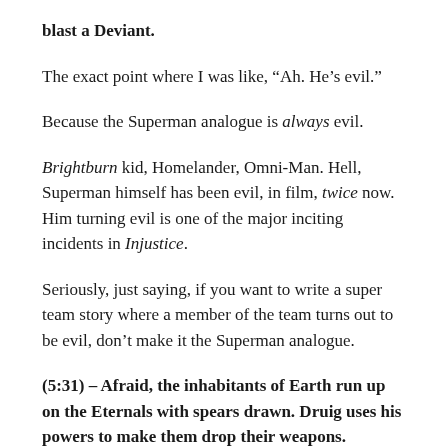blast a Deviant.
The exact point where I was like, “Ah. He’s evil.”
Because the Superman analogue is always evil.
Brightburn kid, Homelander, Omni-Man. Hell, Superman himself has been evil, in film, twice now. Him turning evil is one of the major inciting incidents in Injustice.
Seriously, just saying, if you want to write a super team story where a member of the team turns out to be evil, don’t make it the Superman analogue.
(5:31) – Afraid, the inhabitants of Earth run up on the Eternals with spears drawn. Druig uses his powers to make them drop their weapons.
Just wanted to mark this here.